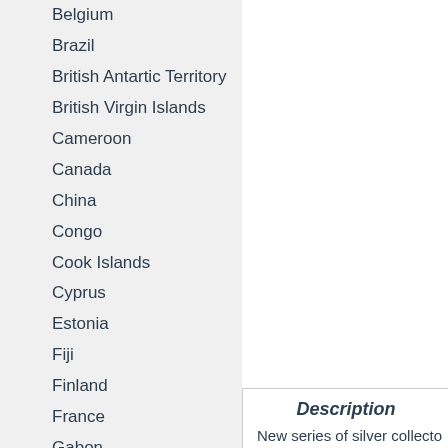Belgium
Brazil
British Antartic Territory
British Virgin Islands
Cameroon
Canada
China
Congo
Cook Islands
Cyprus
Estonia
Fiji
Finland
France
Gabon
Germany
Great Britain
Greece
Ireland
Italy
Japan
Description
New series of silver collecto...